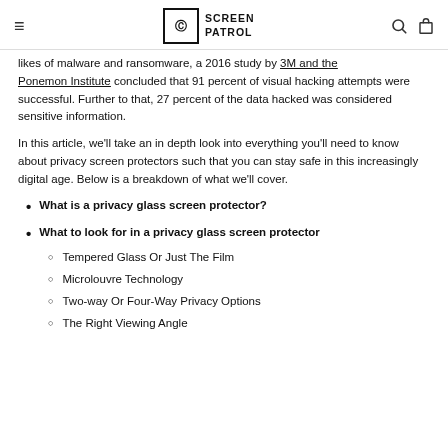Screen Patrol
likes of malware and ransomware, a 2016 study by 3M and the Ponemon Institute concluded that 91 percent of visual hacking attempts were successful. Further to that, 27 percent of the data hacked was considered sensitive information.
In this article, we'll take an in depth look into everything you'll need to know about privacy screen protectors such that you can stay safe in this increasingly digital age. Below is a breakdown of what we'll cover.
What is a privacy glass screen protector?
What to look for in a privacy glass screen protector
Tempered Glass Or Just The Film
Microlouvre Technology
Two-way Or Four-Way Privacy Options
The Right Viewing Angle